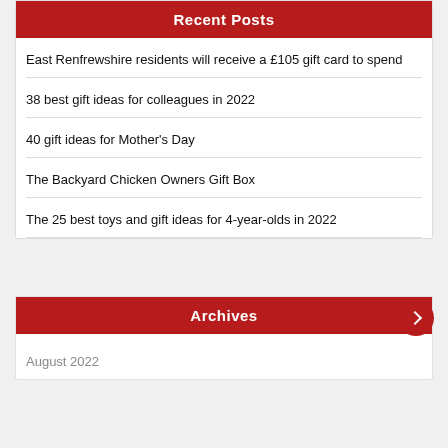Recent Posts
East Renfrewshire residents will receive a £105 gift card to spend
38 best gift ideas for colleagues in 2022
40 gift ideas for Mother's Day
The Backyard Chicken Owners Gift Box
The 25 best toys and gift ideas for 4-year-olds in 2022
Archives
August 2022